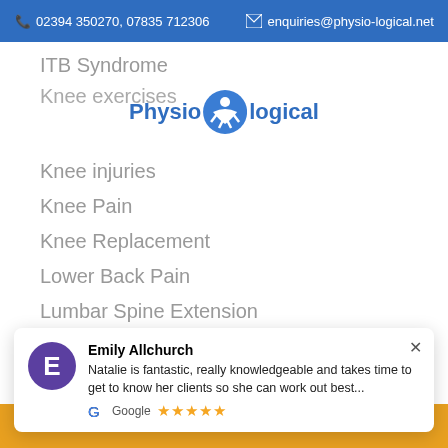02394 350270, 07835 712306  enquiries@physio-logical.net
[Figure (logo): Physio-logical logo with blue figure icon between 'Physio' and 'logical' text]
ITB Syndrome
Knee exercises
Knee injuries
Knee Pain
Knee Replacement
Lower Back Pain
Lumbar Spine Extension
Emily Allchurch
Natalie is fantastic, really knowledgeable and takes time to get to know her clients so she can work out best...
Google ★★★★★
Mobility
BOOK NOW